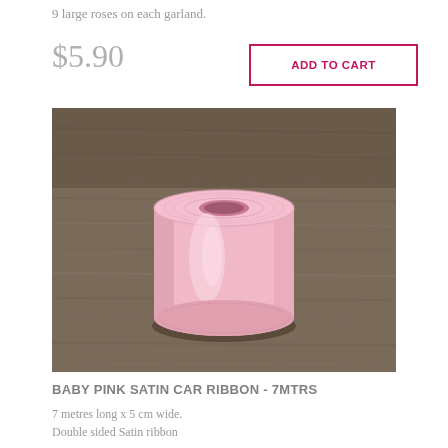9 large roses on each garland.
$5.90
ADD TO CART
[Figure (photo): A roll of baby pink double-sided satin ribbon sitting on a rustic wooden surface. The ribbon is wound into a cylindrical roll showing its smooth pink surface.]
BABY PINK SATIN CAR RIBBON - 7MTRS
7 metres long x 5 cm wide.
Double sided Satin ribbon